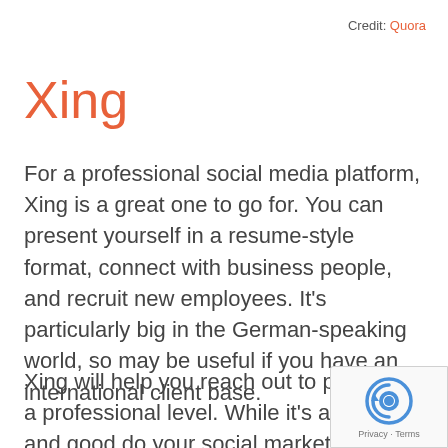Credit: Quora
Xing
For a professional social media platform, Xing is a great one to go for. You can present yourself in a resume-style format, connect with business people, and recruit new employees. It's particularly big in the German-speaking world, so may be useful if you have an international client base.
Xing will help you reach out to people on a professional level. While it's all well and good do your social marketing and employer branding